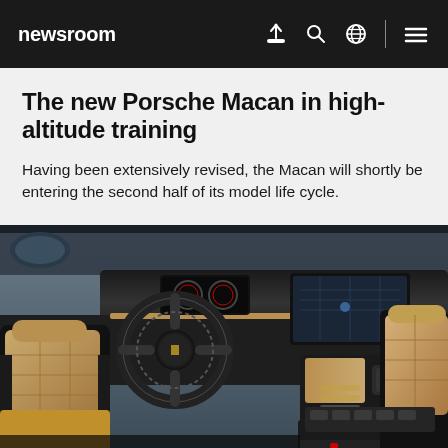newsroom
The new Porsche Macan in high-altitude training
Having been extensively revised, the Macan will shortly be entering the second half of its model life cycle.
[Figure (photo): Interior view of a Porsche Macan showing the dashboard, steering wheel with Porsche logo, tan/beige leather seats, center console with controls, and infotainment screen. The cockpit features black and tan leather upholstery.]